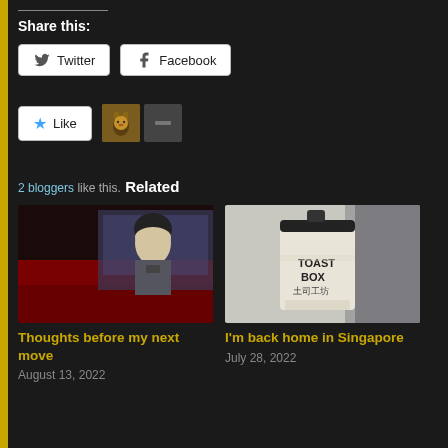Share this:
Twitter
Facebook
2 bloggers like this.
Related
[Figure (photo): Dark cinematic photo of a young person with short hair against a red background]
Thoughts before my next move
August 13, 2022
[Figure (photo): Photo of a Toast Box coffee cup with Chinese characters]
I'm back home in Singapore
July 28, 2022